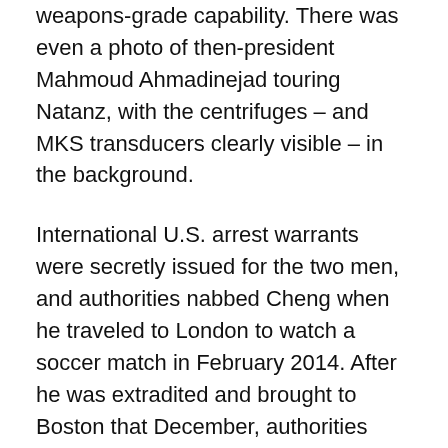weapons-grade capability. There was even a photo of then-president Mahmoud Ahmadinejad touring Natanz, with the centrifuges – and MKS transducers clearly visible – in the background.
International U.S. arrest warrants were secretly issued for the two men, and authorities nabbed Cheng when he traveled to London to watch a soccer match in February 2014. After he was extradited and brought to Boston that December, authorities began to realize that Jamili was a far more important cog in Iran's proliferation network than they had suspected.
It was Jamili who had recruited Cheng with the promise of big and easy money, they determined, and who had been using his Iranian import-export firm as cover for personally recruiting other procurement